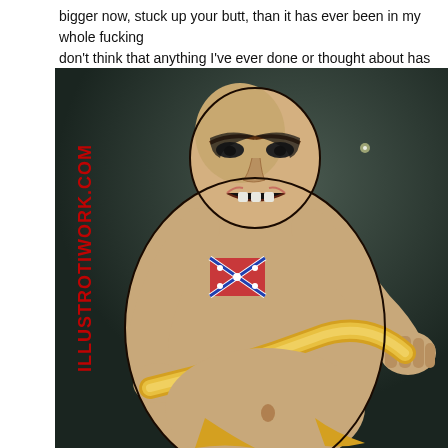bigger now, stuck up your butt, than it has ever been in my whole fucking don't think that anything I've ever done or thought about has been as exc ass! And that has made Sanchez's cock as long, wide, and hard as a sewer
[Figure (illustration): Comic book style illustration of a muscular bald male figure with a Confederate flag tattoo on chest, rendered in anime/comic style with exaggerated musculature, on a dark background. Watermark text 'IllustrotiWork.com' visible in red on left side.]